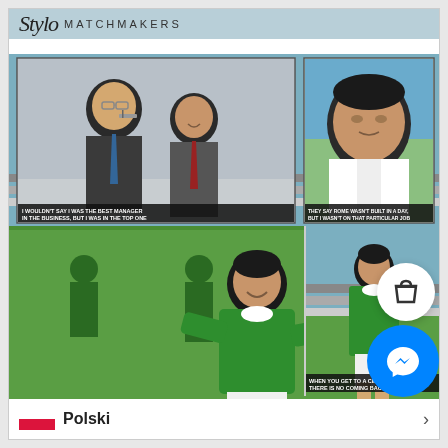[Figure (illustration): Stylo Matchmakers comic strip illustration. Top banner with 'Stylo Matchmakers' logo on blue-grey background. Top row: left panel showing two men in suits talking indoors with caption 'I WOULDN'T SAY I WAS THE BEST MANAGER IN THE BUSINESS, BUT I WAS IN THE TOP ONE'; right panel showing a man's face closeup with caption 'THEY SAY ROME WASN'T BUILT IN A DAY, BUT I WASN'T ON THAT PARTICULAR JOB'. Bottom row: large panel showing a man in green football kit and white shorts smiling on a pitch with other players in background; right panel showing same man in green kit in a thinking pose with caption 'WHEN YOU GET TO A CERTAIN AGE, THERE IS NO COMING BACK'.]
Polski
>